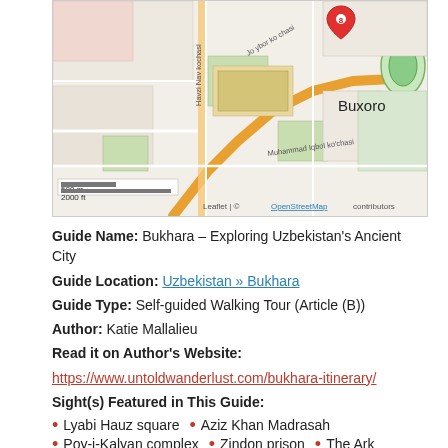[Figure (map): OpenStreetMap of Bukhara, Uzbekistan showing street layout with a red location pin marked '8', scale bar showing 500m/2000ft, labeled streets including Havzi Nav kochasi, Jo ybor ko chasi, Muhammad Iqbol ko'chasi, and the label 'Buxoro'. Attribution: Leaflet | © OpenStreetMap contributors.]
Guide Name: Bukhara – Exploring Uzbekistan's Ancient City
Guide Location: Uzbekistan » Bukhara
Guide Type: Self-guided Walking Tour (Article (B))
Author: Katie Mallalieu
Read it on Author's Website:
https://www.untoldwanderlust.com/bukhara-itinerary/
Sight(s) Featured in This Guide:
Lyabi Hauz square
Aziz Khan Madrasah
Poy-i-Kalyan complex
Zindon prison
The Ark
Boro Hauz Masjid
Samandis Mausoleum